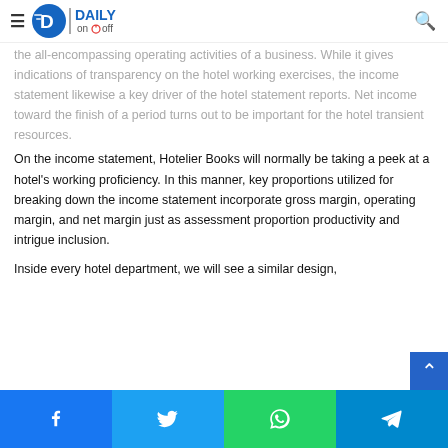Daily On Off — navigation header with logo, hamburger menu, and search icon
the all-encompassing operating activities of a business. While it gives indications of transparency on the hotel working exercises, the income statement likewise a key driver of the hotel statement reports. Net income toward the finish of a period turns out to be important for the hotel transient resources.
On the income statement, Hotelier Books will normally be taking a peek at a hotel's working proficiency. In this manner, key proportions utilized for breaking down the income statement incorporate gross margin, operating margin, and net margin just as assessment proportion productivity and intrigue inclusion.
Inside every hotel department, we will see a similar design,
Social share bar: Facebook, Twitter, WhatsApp, Telegram